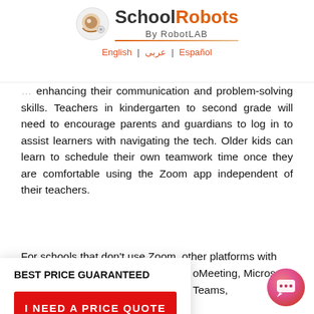School Robots By RobotLAB | English | عربى | Español
enhancing their communication and problem-solving skills. Teachers in kindergarten to second grade will need to encourage parents and guardians to log in to assist learners with navigating the tech. Older kids can learn to schedule their own teamwork time once they are comfortable using the Zoom app independent of their teachers.
For schools that don't use Zoom, other platforms with the … GoToMeeting, Microsoft Teams,
BEST PRICE GUARANTEED
I NEED A PRICE QUOTE